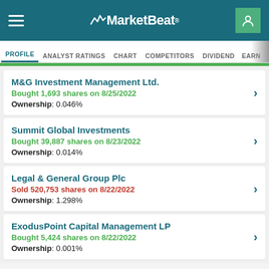MarketBeat
PROFILE  ANALYST RATINGS  CHART  COMPETITORS  DIVIDEND  EARNINGS
M&G Investment Management Ltd. | Bought 1,693 shares on 8/25/2022 | Ownership: 0.046%
Summit Global Investments | Bought 39,887 shares on 8/23/2022 | Ownership: 0.014%
Legal & General Group Plc | Sold 520,753 shares on 8/22/2022 | Ownership: 1.298%
ExodusPoint Capital Management LP | Bought 5,424 shares on 8/22/2022 | Ownership: 0.001%